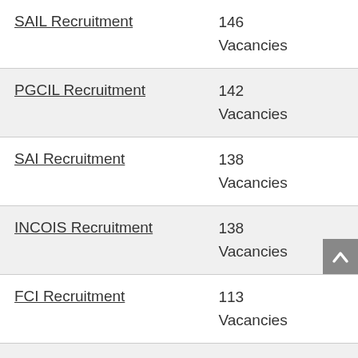| Recruitment | Vacancies |
| --- | --- |
| SAIL Recruitment | 146 Vacancies |
| PGCIL Recruitment | 142 Vacancies |
| SAI Recruitment | 138 Vacancies |
| INCOIS Recruitment | 138 Vacancies |
| FCI Recruitment | 113 Vacancies |
| NHM Recruitment | 111 |